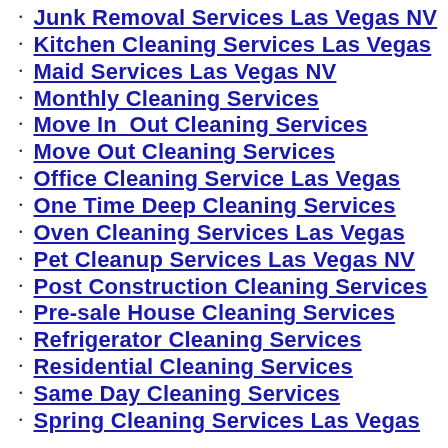Junk Removal Services Las Vegas NV
Kitchen Cleaning Services Las Vegas
Maid Services Las Vegas NV
Monthly Cleaning Services
Move In  Out Cleaning Services
Move Out Cleaning Services
Office Cleaning Service Las Vegas
One Time Deep Cleaning Services
Oven Cleaning Services Las Vegas
Pet Cleanup Services Las Vegas NV
Post Construction Cleaning Services
Pre-sale House Cleaning Services
Refrigerator Cleaning Services
Residential Cleaning Services
Same Day Cleaning Services
Spring Cleaning Services Las Vegas